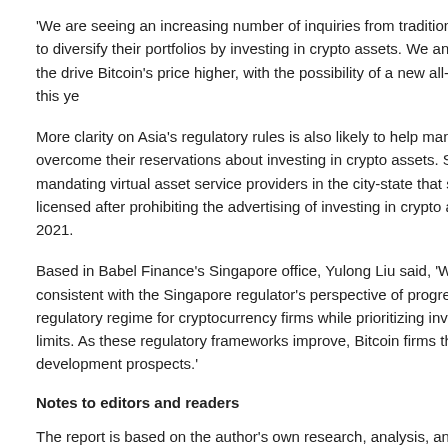'We are seeing an increasing number of inquiries from traditional investors to diversify their portfolios by investing in crypto assets. We anticipate that the drive Bitcoin's price higher, with the possibility of a new all-time high this ye
More clarity on Asia's regulatory rules is also likely to help many convention overcome their reservations about investing in crypto assets. Singapore ha mandating virtual asset service providers in the city-state that solely do bus licensed after prohibiting the advertising of investing in crypto assets to ret 2021.
Based in Babel Finance's Singapore office, Yulong Liu said, 'We think thes consistent with the Singapore regulator's perspective of progressively deve regulatory regime for cryptocurrency firms while prioritizing investor safety limits. As these regulatory frameworks improve, Bitcoin firms that adapt wi development prospects.'
Notes to editors and readers
The report is based on the author's own research, analysis, and judgment a an investment recommendation. Babel Finance assumes no responsibility that readers may have.
About Babel Finance
Babel Finance is a global leading crypto financial services provider, offeri investors professional services covering crypto lending and crypto trading.
The company is backed by prominent investors, including Sequoia C